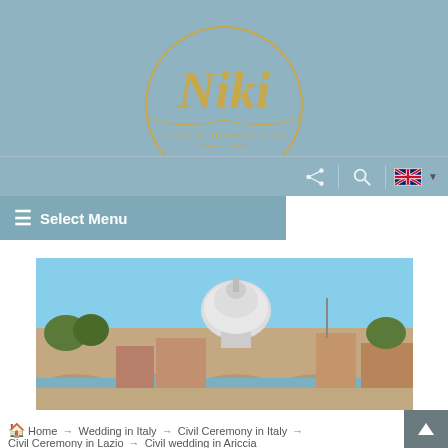[Figure (logo): Niki Tour Wedding Event logo — golden script 'Niki' inside a gold circle, with subtitle 'TOUR•WEDDING•EVENT', on steel-blue background]
[Figure (screenshot): Website navigation toolbar with share icon, search icon, UK flag language selector, and dropdown arrow]
[Figure (screenshot): Blue-gray navigation menu bar showing hamburger icon and 'Select Menu' text]
[Figure (photo): Panoramic photo of Rome skyline with St. Peter's Basilica dome, bridges, and historic buildings under blue sky]
Home → Wedding in Italy → Civil Ceremony in Italy → Civil Ceremony in Lazio → Civil wedding in Ariccia
→ Displaying items by tag: civil ceremony